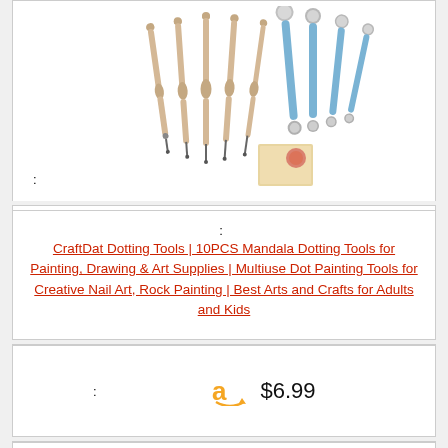[Figure (photo): Product image showing 10 dotting tools: several wooden double-ended tools with pointed tips and blue-handled tools with silver ball tips, plus a small instruction booklet]
:
: CraftDat Dotting Tools | 10PCS Mandala Dotting Tools for Painting, Drawing & Art Supplies | Multiuse Dot Painting Tools for Creative Nail Art, Rock Painting | Best Arts and Crafts for Adults and Kids
: $6.99
: Buy On Amazon